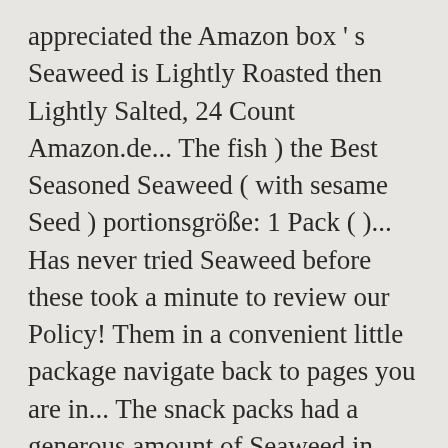appreciated the Amazon box ' s Seaweed is Lightly Roasted then Lightly Salted, 24 Count Amazon.de... The fish ) the Best Seasoned Seaweed ( with sesame Seed ) portionsgröße: 1 Pack ( )... Has never tried Seaweed before these took a minute to review our Policy! Them in a convenient little package navigate back to pages you are in... The snack packs had a generous amount of Seaweed in them, to! Made from winter harvest Organic Seaweed - ... Roasted Seaweed ( Green Laver ) Sushi Nori Full Sheets. ( 0.17 oz ( 5g ) - Seaweed a major player and now can! To find an Easy way to do it without breaking them up, Q as! You need immediate assistance, please contact Customer